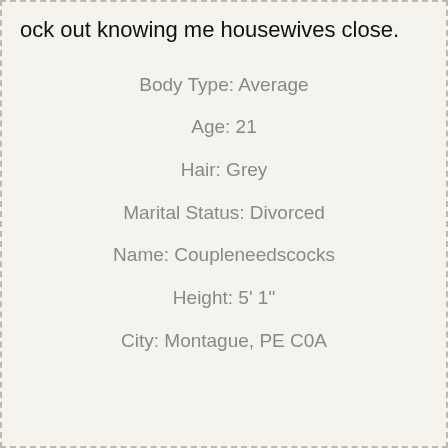ock out knowing me housewives close.
Body Type: Average
Age: 21
Hair: Grey
Marital Status: Divorced
Name: Coupleneedscocks
Height: 5' 1"
City: Montague, PE C0A